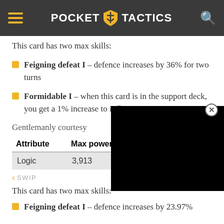POCKET TACTICS
This card has two max skills:
Feigning defeat I – defence increases by 36% for two turns
Formidable I – when this card is in the support deck, you get a 1% increase to influence
Gentlemanly courtesy
| Attribute | Max power |
| --- | --- |
| Logic | 3,913 |
This card has two max skills:
Feigning defeat I – defence increases by 23.97%